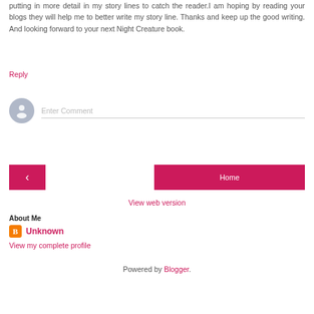putting in more detail in my story lines to catch the reader.I am hoping by reading your blogs they will help me to better write my story line. Thanks and keep up the good writing. And looking forward to your next Night Creature book.
Reply
[Figure (other): User avatar placeholder circle with person silhouette, next to an Enter Comment input field]
[Figure (other): Navigation buttons: back arrow button (pink) on left, Home button (pink) on right]
View web version
About Me
Unknown
View my complete profile
Powered by Blogger.